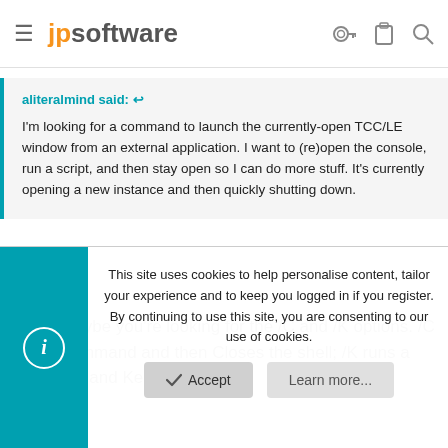jpsoftware
aliteralmind said: ↩
I'm looking for a command to launch the currently-open TCC/LE window from an external application. I want to (re)open the console, run a script, and then stay open so I can do more stuff. It's currently opening a new instance and then quickly shutting down.
I think maybe you're looking for the /C and /K options. /C runs a command and then Closes the shell; /K runs a command and Keeps it open.
This site uses cookies to help personalise content, tailor your experience and to keep you logged in if you register.
By continuing to use this site, you are consenting to our use of cookies.